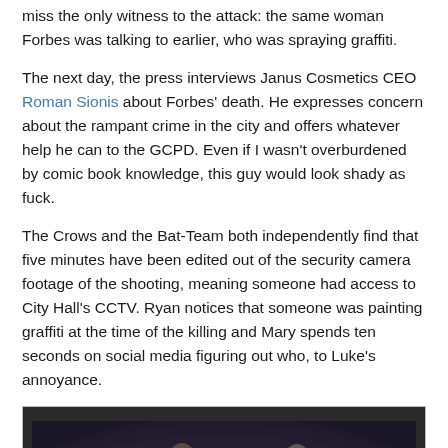miss the only witness to the attack: the same woman Forbes was talking to earlier, who was spraying graffiti.
The next day, the press interviews Janus Cosmetics CEO Roman Sionis about Forbes' death. He expresses concern about the rampant crime in the city and offers whatever help he can to the GCPD. Even if I wasn't overburdened by comic book knowledge, this guy would look shady as fuck.
The Crows and the Bat-Team both independently find that five minutes have been edited out of the security camera footage of the shooting, meaning someone had access to City Hall's CCTV. Ryan notices that someone was painting graffiti at the time of the killing and Mary spends ten seconds on social media figuring out who, to Luke's annoyance.
[Figure (photo): Dark scene showing figures, appears to be a still from a TV show or film with low lighting and dark tones.]